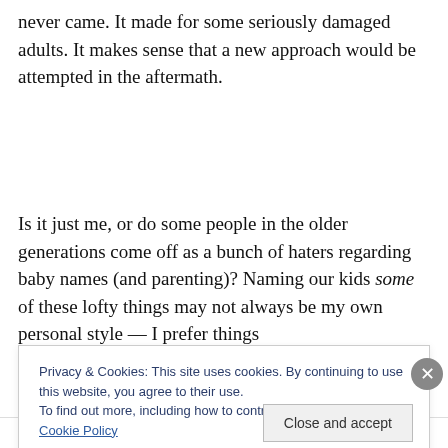never came. It made for some seriously damaged adults. It makes sense that a new approach would be attempted in the aftermath.
Is it just me, or do some people in the older generations come off as a bunch of haters regarding baby names (and parenting)? Naming our kids some of these lofty things may not always be my own personal style — I prefer things
Privacy & Cookies: This site uses cookies. By continuing to use this website, you agree to their use.
To find out more, including how to control cookies, see here: Cookie Policy
Close and accept
Advertisements